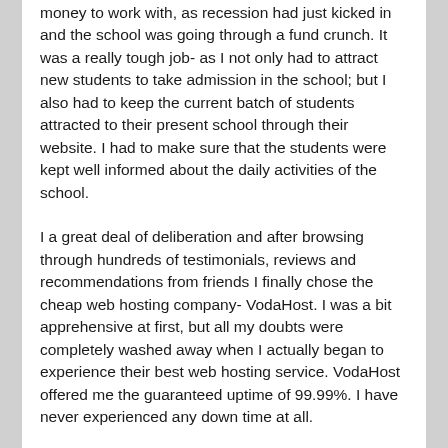money to work with, as recession had just kicked in and the school was going through a fund crunch. It was a really tough job- as I not only had to attract new students to take admission in the school; but I also had to keep the current batch of students attracted to their present school through their website. I had to make sure that the students were kept well informed about the daily activities of the school.
I a great deal of deliberation and after browsing through hundreds of testimonials, reviews and recommendations from friends I finally chose the cheap web hosting company- VodaHost. I was a bit apprehensive at first, but all my doubts were completely washed away when I actually began to experience their best web hosting service. VodaHost offered me the guaranteed uptime of 99.99%. I have never experienced any down time at all.
VodaHost, the best web hosting company offers you the support of new age services and protocols. It allows seamless integration of Perl, MySQL, and PHP and offers unlimited space for different databases. For shopping